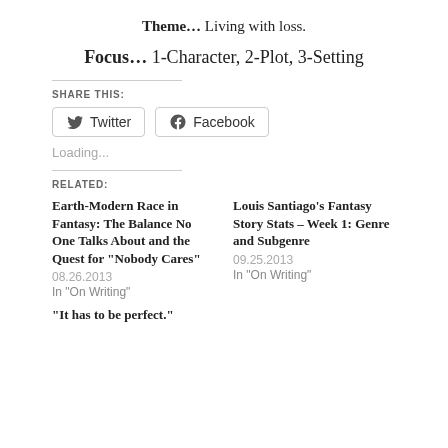Theme… Living with loss.
Focus… 1-Character, 2-Plot, 3-Setting
SHARE THIS:
Twitter  Facebook
Loading...
RELATED:
Earth-Modern Race in Fantasy: The Balance No One Talks About and the Quest for "Nobody Cares"
08.26.2013
In "On Writing"
Louis Santiago's Fantasy Story Stats – Week 1: Genre and Subgenre
09.25.2013
In "On Writing"
"It has to be perfect."